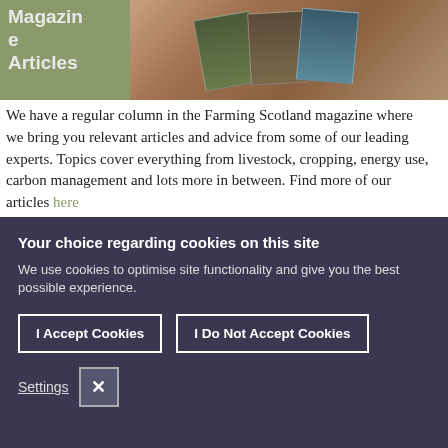Magazine Articles
[Figure (photo): Photo of several Farming Scotland magazine covers spread on a wooden surface, with various agricultural themes visible on covers]
We have a regular column in the Farming Scotland magazine where we bring you relevant articles and advice from some of our leading experts. Topics cover everything from livestock, cropping, energy use, carbon management and lots more in between. Find more of our articles here
Your choice regarding cookies on this site
We use cookies to optimise site functionality and give you the best possible experience.
I Accept Cookies
I Do Not Accept Cookies
Settings